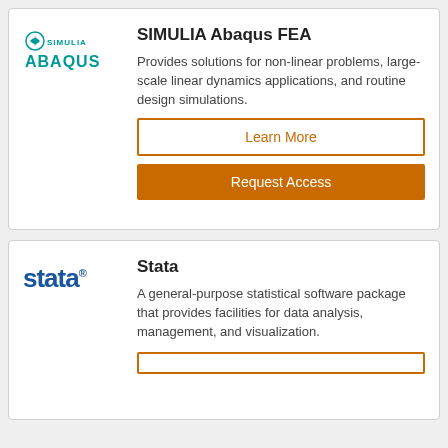[Figure (logo): SIMULIA Abaqus FEA logo — SIMULIA text in teal with 3DS icon above, ABAQUS in teal below]
SIMULIA Abaqus FEA
Provides solutions for non-linear problems, large-scale linear dynamics applications, and routine design simulations.
Learn More
Request Access
[Figure (logo): Stata logo — bold blue STATA text with registered trademark superscript]
Stata
A general-purpose statistical software package that provides facilities for data analysis, management, and visualization.